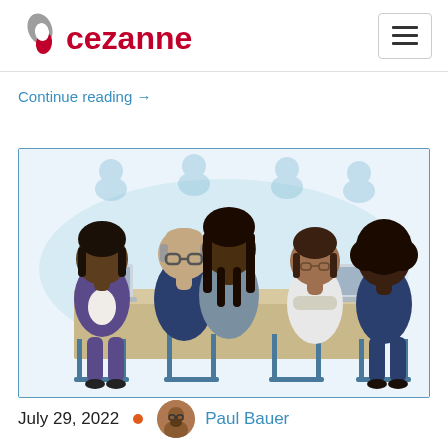[Figure (logo): Cezanne HR logo with stylized C icon in grey and red, followed by 'cezanne' in red text]
Continue reading →
[Figure (illustration): Illustration of five diverse business people sitting around a conference table, some with laptops, engaged in a meeting. Light blue background with ghost person icons above them.]
July 29, 2022  •  Paul Bauer